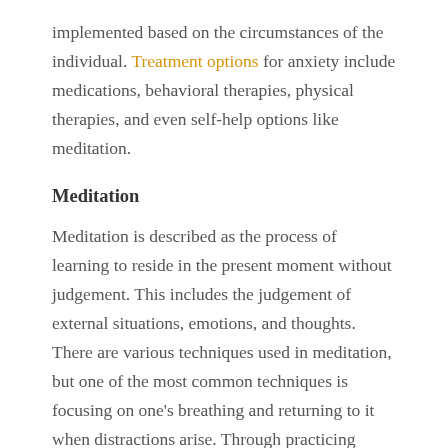implemented based on the circumstances of the individual. Treatment options for anxiety include medications, behavioral therapies, physical therapies, and even self-help options like meditation.
Meditation
Meditation is described as the process of learning to reside in the present moment without judgement. This includes the judgement of external situations, emotions, and thoughts. There are various techniques used in meditation, but one of the most common techniques is focusing on one's breathing and returning to it when distractions arise. Through practicing meditation, one may experience a multitude of health benefits like reduced stress, lower blood pressure, and improved coping mechanisms to stressful situations.